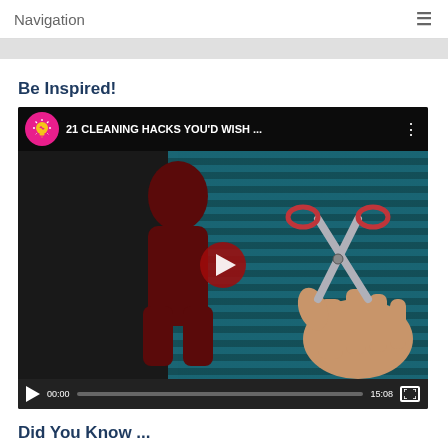Navigation
Be Inspired!
[Figure (screenshot): YouTube video embed showing '21 CLEANING HACKS YOU'D WISH ...' with a play button, timestamp 00:00 / 15:08, featuring a channel icon with a lightbulb on pink background, and a video thumbnail of scissors and a hand against a teal corrugated background.]
Did You Know ...